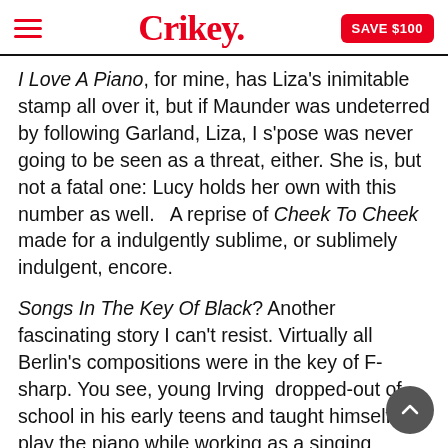Crikey. SAVE $100
I Love A Piano, for mine, has Liza's inimitable stamp all over it, but if Maunder was undeterred by following Garland, Liza, I s'pose was never going to be seen as a threat, either. She is, but not a fatal one: Lucy holds her own with this number as well.   A reprise of Cheek To Cheek made for a indulgently sublime, or sublimely indulgent, encore.
Songs In The Key Of Black? Another fascinating story I can't resist. Virtually all Berlin's compositions were in the key of F-sharp. You see, young Irving  dropped-out of school in his early teens and taught himself to play the piano while working as a singing waiter, from 1904 to 1907. Playing in F-sharp allowed him to stay